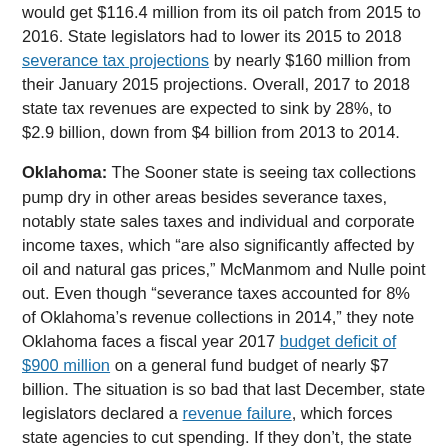would get $116.4 million from its oil patch from 2015 to 2016. State legislators had to lower its 2015 to 2018 severance tax projections by nearly $160 million from their January 2015 projections. Overall, 2017 to 2018 state tax revenues are expected to sink by 28%, to $2.9 billion, down from $4 billion from 2013 to 2014.
Oklahoma: The Sooner state is seeing tax collections pump dry in other areas besides severance taxes, notably state sales taxes and individual and corporate income taxes, which "are also significantly affected by oil and natural gas prices," McManmom and Nulle point out. Even though "severance taxes accounted for 8% of Oklahoma's revenue collections in 2014," they note Oklahoma faces a fiscal year 2017 budget deficit of $900 million on a general fund budget of nearly $7 billion. The situation is so bad that last December, state legislators declared a revenue failure, which forces state agencies to cut spending. If they don't, the state can still dip into its rainy day fund, called its "budget stabilization fund," with up to 37.5% of that pot of money on tap.